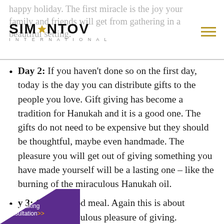happy holiday. The first miracle is the joy your family and friends will get from gathering in a beautiful setting.
[Figure (logo): Simantov International logo with stylized text and gold Star of David emblem]
Day 2: If you haven't done so on the first day, today is the day you can distribute gifts to the people you love. Gift giving has become a tradition for Hanukah and it is a good one. The gifts do not need to be expensive but they should be thoughtful, maybe even handmade. The pleasure you will get out of giving something you have made yourself will be a lasting one – like the burning of the miraculous Hanukah oil.
Day 3: Cook a good meal. Again this is about experiencing the fabulous pleasure of giving.